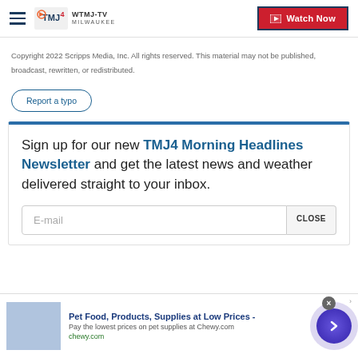WTMJ-TV MILWAUKEE | Watch Now
Copyright 2022 Scripps Media, Inc. All rights reserved. This material may not be published, broadcast, rewritten, or redistributed.
Report a typo
Sign up for our new TMJ4 Morning Headlines Newsletter and get the latest news and weather delivered straight to your inbox.
E-mail
Pet Food, Products, Supplies at Low Prices - Pay the lowest prices on pet supplies at Chewy.com chewy.com